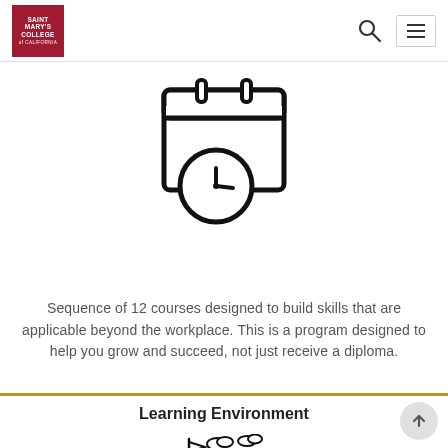Saint Mary's College of California
[Figure (illustration): Calendar with clock icon — a calendar page with two binding rings at top and a clock overlapping the bottom-right corner, all in black outline style.]
Sequence of 12 courses designed to build skills that are applicable beyond the workplace. This is a program designed to help you grow and succeed, not just receive a diploma.
Learning Environment
[Figure (illustration): Campus / town buildings illustration with flag, clouds, trees, and structures in black outline style.]